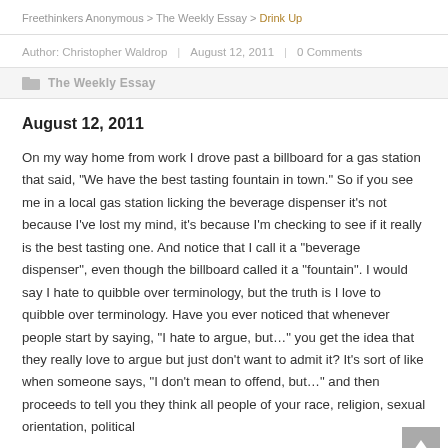Freethinkers Anonymous > The Weekly Essay > Drink Up
Author: Christopher Waldrop | August 12, 2011 | 0 Comments
The Weekly Essay
August 12, 2011
On my way home from work I drove past a billboard for a gas station that said, "We have the best tasting fountain in town." So if you see me in a local gas station licking the beverage dispenser it's not because I've lost my mind, it's because I'm checking to see if it really is the best tasting one. And notice that I call it a "beverage dispenser", even though the billboard called it a "fountain". I would say I hate to quibble over terminology, but the truth is I love to quibble over terminology. Have you ever noticed that whenever people start by saying, "I hate to argue, but…" you get the idea that they really love to argue but just don't want to admit it? It's sort of like when someone says, "I don't mean to offend, but…" and then proceeds to tell you they think all people of your race, religion, sexual orientation, political